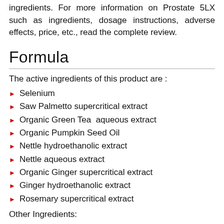ingredients. For more information on Prostate 5LX such as ingredients, dosage instructions, adverse effects, price, etc., read the complete review.
Formula
The active ingredients of this product are :
Selenium
Saw Palmetto supercritical extract
Organic Green Tea  aqueous extract
Organic Pumpkin Seed Oil
Nettle hydroethanolic extract
Nettle aqueous extract
Organic Ginger supercritical extract
Ginger hydroethanolic extract
Rosemary supercritical extract
Other Ingredients: